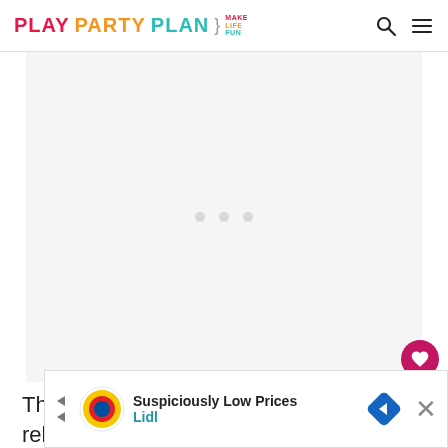PLAY PARTY PLAN | MAKE LIFE FUN
[Figure (other): Large grey placeholder/ad content area with three small dots in the center]
The cotton candy should dissolve, releasing the
[Figure (other): Lidl advertisement banner: 'Suspiciously Low Prices' with Lidl logo and navigation arrow icon, with close button]